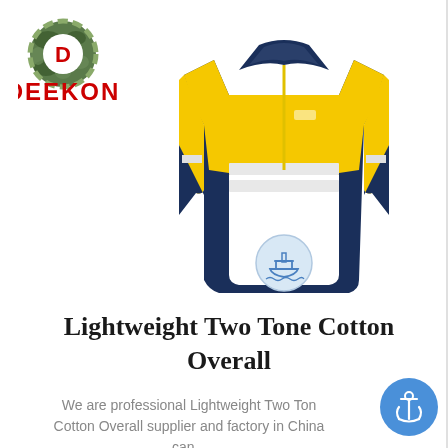[Figure (logo): DEEKON brand logo with camouflage circular emblem and red DEEKON text]
[Figure (photo): Yellow and navy blue two-tone lightweight cotton work overall/shirt with reflective stripes and long sleeves, displayed on invisible mannequin. A circular ship icon badge overlays the bottom of the product image.]
Lightweight Two Tone Cotton Overall
We are professional Lightweight Two Tone Cotton Overall supplier and factory in China, can...